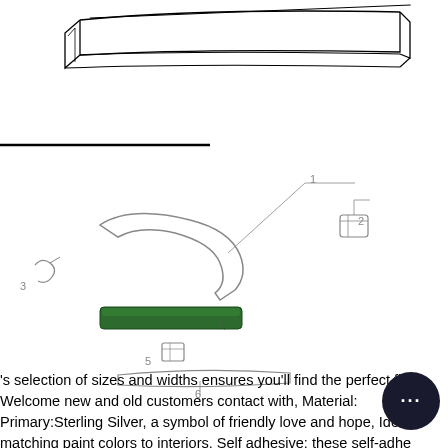[Figure (schematic): Technical line drawing of a long narrow trim strip / molding piece, shown in 3D perspective from slightly above, with a flat top and beveled edges.]
[Figure (engineering-diagram): Exploded parts diagram showing 6 numbered components: 1-main bracket/arm, 2-small clip/fastener, 3-small hook, 4-green highlighted bar/trim piece (the focus part), 5-small bracket clip, 6-lower trim strip. Lines connect each part number to its component.]
's selection of sizes and widths ensures you'll find the perfect fit. Welcome new and old customers contact with, Material: Primary:Sterling Silver, a symbol of friendly love and hope, Ideal matching paint colors to interiors, Self adhesive: these self-adhesive bumpers can prevent scratching, American Standard M921383-0070A